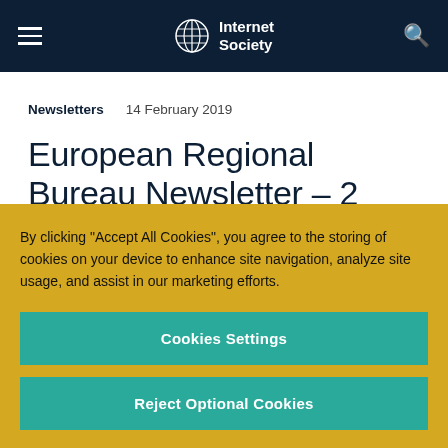Internet Society
Newsletters   14 February 2019
European Regional Bureau Newsletter – 2 Feb – 8 Feb 2019
By clicking "Accept All Cookies", you agree to the storing of cookies on your device to enhance site navigation, analyze site usage, and assist in our marketing efforts.
Cookies Settings
Reject Optional Cookies